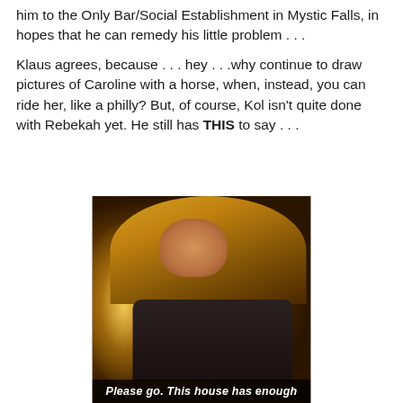him to the Only Bar/Social Establishment in Mystic Falls, in hopes that he can remedy his little problem . . .
Klaus agrees, because . . . hey . . .why continue to draw pictures of Caroline with a horse, when, instead, you can ride her, like a philly?  But, of course, Kol isn't quite done with Rebekah yet.  He still has THIS to say . . .
[Figure (photo): A blonde woman with long hair in a dark setting, with a bright light source on the left. She appears to be speaking or reacting. A subtitle at the bottom reads: 'Please go. This house has enough']
Please go. This house has enough